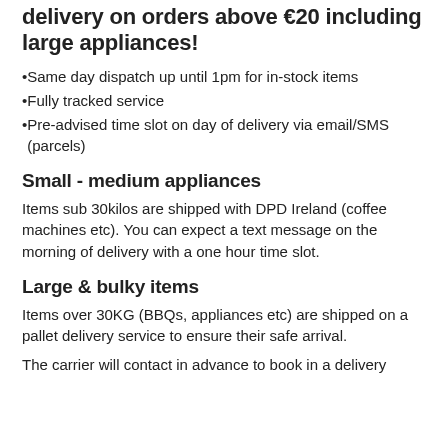delivery on orders above €20 including large appliances!
Same day dispatch up until 1pm for in-stock items
Fully tracked service
Pre-advised time slot on day of delivery via email/SMS (parcels)
Small - medium appliances
Items sub 30kilos are shipped with DPD Ireland (coffee machines etc). You can expect a text message on the morning of delivery with a one hour time slot.
Large & bulky items
Items over 30KG (BBQs, appliances etc) are shipped on a pallet delivery service to ensure their safe arrival.
The carrier will contact in advance to book in a delivery